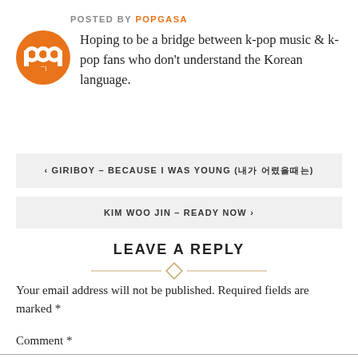POSTED BY POPGASA
[Figure (logo): Orange circular 'pop' logo with Korean character inside]
Hoping to be a bridge between k-pop music & k-pop fans who don't understand the Korean language.
< GIRIBOY – BECAUSE I WAS YOUNG (내가 어렸을때는)
KIM WOO JIN – READY NOW >
LEAVE A REPLY
Your email address will not be published. Required fields are marked *
Comment *